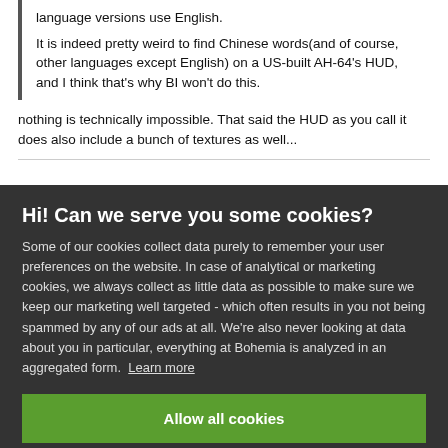language versions use English.
It is indeed pretty weird to find Chinese words(and of course, other languages except English) on a US-built AH-64's HUD, and I think that's why BI won't do this.
nothing is technically impossible. That said the HUD as you call it does also include a bunch of textures as well...
Hi! Can we serve you some cookies?
Some of our cookies collect data purely to remember your user preferences on the website. In case of analytical or marketing cookies, we always collect as little data as possible to make sure we keep our marketing well targeted - which often results in you not being spammed by any of our ads at all. We're also never looking at data about you in particular, everything at Bohemia is analyzed in an aggregated form. Learn more
Allow all cookies
I want more options